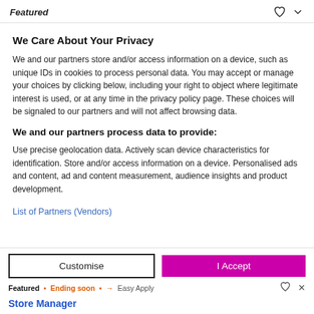Featured
We Care About Your Privacy
We and our partners store and/or access information on a device, such as unique IDs in cookies to process personal data. You may accept or manage your choices by clicking below, including your right to object where legitimate interest is used, or at any time in the privacy policy page. These choices will be signaled to our partners and will not affect browsing data.
We and our partners process data to provide:
Use precise geolocation data. Actively scan device characteristics for identification. Store and/or access information on a device. Personalised ads and content, ad and content measurement, audience insights and product development.
List of Partners (Vendors)
Featured · Ending soon · → Easy Apply | Customise | I Accept | Store Manager